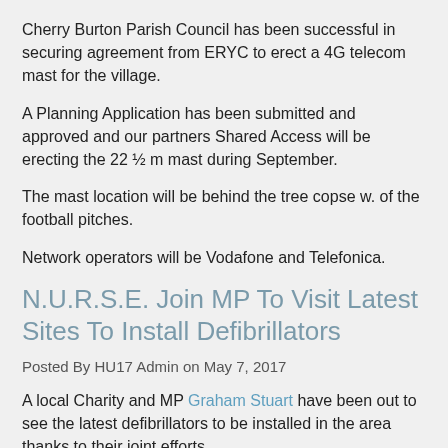Cherry Burton Parish Council has been successful in securing agreement from ERYC to erect a 4G telecom mast for the village.
A Planning Application has been submitted and approved and our partners Shared Access will be erecting the 22 ½ m mast during September.
The mast location will be behind the tree copse w. of the football pitches.
Network operators will be Vodafone and Telefonica.
N.U.R.S.E. Join MP To Visit Latest Sites To Install Defibrillators
Posted By HU17 Admin on May 7, 2017
A local Charity and MP Graham Stuart have been out to see the latest defibrillators to be installed in the area thanks to their joint efforts.
N.U.R.S.E. who helps fund the project joined the MP as they visited locations in Beverley, Cherry Burton and Lund who have all recently installed defibrillators.
Vera Robinson from N.U.R.S.E. said; “Graham has been campaigning for local council parishes to have automated defibrillators installed due to